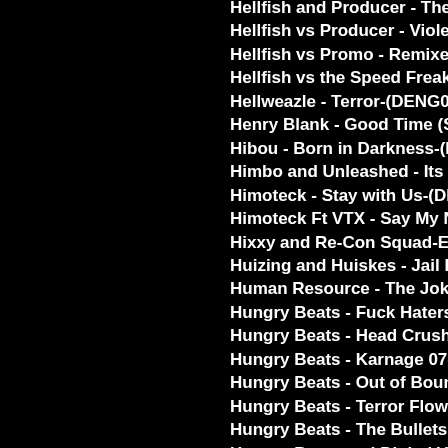Hellfish and Producer - Theme from Fuck Dac...
Hellfish vs Producer - Violent Works of Art EF...
Hellfish vs Promo - Remixes-(DEATHCHANT...
Hellfish vs the Speed Freak - Daft Cant (the R...
Hellweazle - Terror-(DENG031)-WEB-2018-Pl...
Henry Blank - Good Time (Squad-E and Klub...
Hibou - Born in Darkness-(DD00040)-WEB-20...
Himbo and Unleashed - Its Alright-(AH006)-W...
Himoteck - Stay with Us-(DENG024)-WEB-20...
Himoteck Ft VTX - Say My Name-(DENGDE!...
Hixxy and Re-Con Squad-E and MOB - Rese...
Huizing and Huiskes - Jail EP-(BGRD013)-WI...
Human Resource - The Joke (Partyraiser Vs L...
Hungry Beats - Fuck Haters (Remixes)-(PNRL...
Hungry Beats - Head Crusher EP-(PNR-02)-V...
Hungry Beats - Karnage 07-(MD0103)-WEB-2...
Hungry Beats - Out of Bounds EP-(PNR-01)-W...
Hungry Beats - Terror Flow-WEB-2017-PUTA...
Hungry Beats - The Bullets Shatter Around M...
Hungry Beats and Digital Violence - Iron Bloo...
Hungry Beats and the Butchers - Futurecore-(...
Hungry Beats and the Butchers - Futurecore-(
Hungry Beats and the Butchers - Hard Future...
Hungry Beats and the Butchers - So Effusive-(
Hyperbass - Generator Bass Invasion (TV21...